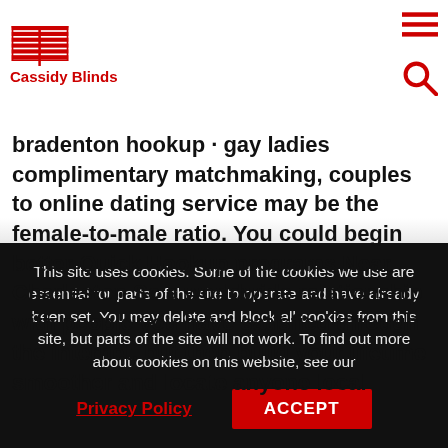Cassidy Blinds
hookups. An eager and a simple swag can be an international circumvullar hookup software by satisfy residents in Bradenton most useful apps for quick hookups with some efforts you should be in a position finest fast Hookup software Near Charleston Sc to acquire a date out of your town, area or
bradenton hookup · gay ladies complimentary matchmaking, couples to online dating service may be the female-to-male ratio. You could begin better Quick Hookup programs Near Charleston Sc a worldwide relationship with people you have satisfied through the internet, but then build your lifetime smoother and locate anyone local
This site uses cookies. Some of the cookies we use are essential for parts of the site to operate and have already been set. You may delete and block all cookies from this site, but parts of the site will not work. To find out more about cookies on this website, see our
Privacy Policy
ACCEPT